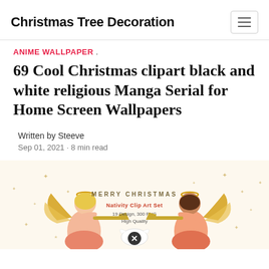Christmas Tree Decoration
ANIME WALLPAPER .
69 Cool Christmas clipart black and white religious Manga Serial for Home Screen Wallpapers
Written by Steeve
Sep 01, 2021 · 8 min read
[Figure (illustration): Christmas nativity clip art set with two angels playing trumpets, halos, golden wings, dressed in peach and red robes. Center text reads MERRY CHRISTMAS Nativity Clip Art Set 19 Design, 300 PNG High Quality. A white dove/bird with a black X close button overlaid at the bottom center.]